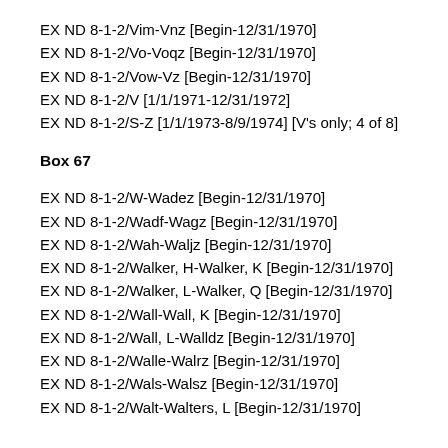EX ND 8-1-2/Vim-Vnz [Begin-12/31/1970]
EX ND 8-1-2/Vo-Voqz [Begin-12/31/1970]
EX ND 8-1-2/Vow-Vz [Begin-12/31/1970]
EX ND 8-1-2/V [1/1/1971-12/31/1972]
EX ND 8-1-2/S-Z [1/1/1973-8/9/1974] [V's only; 4 of 8]
Box 67
EX ND 8-1-2/W-Wadez [Begin-12/31/1970]
EX ND 8-1-2/Wadf-Wagz [Begin-12/31/1970]
EX ND 8-1-2/Wah-Waljz [Begin-12/31/1970]
EX ND 8-1-2/Walker, H-Walker, K [Begin-12/31/1970]
EX ND 8-1-2/Walker, L-Walker, Q [Begin-12/31/1970]
EX ND 8-1-2/Wall-Wall, K [Begin-12/31/1970]
EX ND 8-1-2/Wall, L-Walldz [Begin-12/31/1970]
EX ND 8-1-2/Walle-Walrz [Begin-12/31/1970]
EX ND 8-1-2/Wals-Walsz [Begin-12/31/1970]
EX ND 8-1-2/Walt-Walters, L [Begin-12/31/1970]